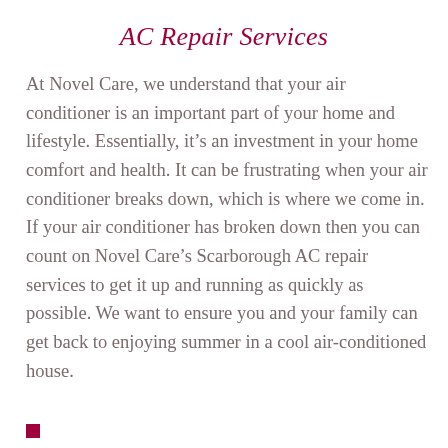AC Repair Services
At Novel Care, we understand that your air conditioner is an important part of your home and lifestyle. Essentially, it’s an investment in your home comfort and health. It can be frustrating when your air conditioner breaks down, which is where we come in. If your air conditioner has broken down then you can count on Novel Care’s Scarborough AC repair services to get it up and running as quickly as possible. We want to ensure you and your family can get back to enjoying summer in a cool air-conditioned house.